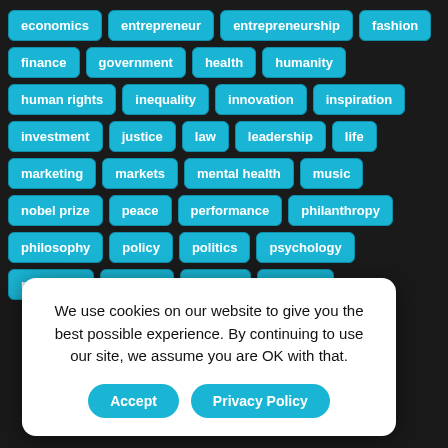economics
entrepreneur
entrepreneurship
fashion
finance
government
health
humanity
human rights
inequality
innovation
inspiration
investment
justice
law
leadership
life
marketing
markets
mental health
music
nobel prize
peace
performance
philanthropy
philosophy
policy
politics
psychology
resilience
science
society
success
We use cookies on our website to give you the best possible experience. By continuing to use our site, we assume you are OK with that.
Accept
Privacy Policy